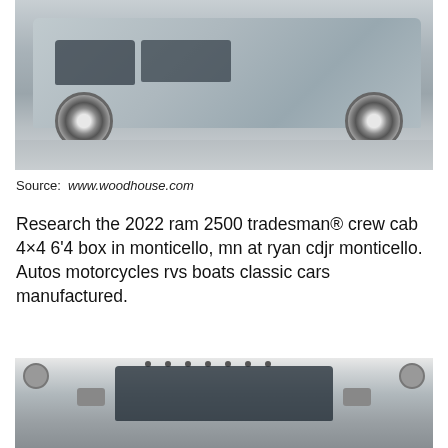[Figure (photo): Side view of a silver 2022 Ram 2500 Tradesman crew cab pickup truck in a dealership showroom with gray epoxy floor]
Source: www.woodhouse.com
Research the 2022 ram 2500 tradesman® crew cab 4×4 6'4 box in monticello, mn at ryan cdjr monticello. Autos motorcycles rvs boats classic cars manufactured.
[Figure (photo): Front view of a dark-colored pickup truck in a white-walled dealership showroom, showing windshield, mirrors, and roof rack]